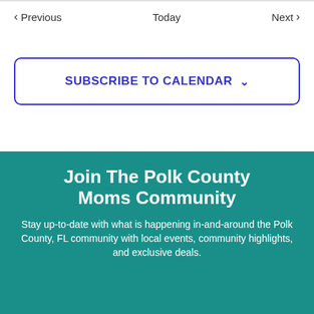< Previous
Today
Next >
SUBSCRIBE TO CALENDAR ∨
Join The Polk County Moms Community
Stay up-to-date with what is happening in-and-around the Polk County, FL community with local events, community highlights, and exclusive deals.